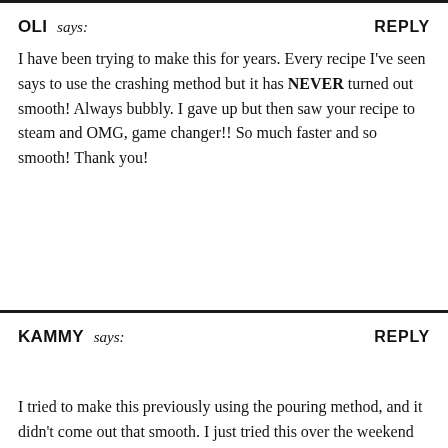OLI says:   REPLY
I have been trying to make this for years. Every recipe I’ve seen says to use the crashing method but it has NEVER turned out smooth! Always bubbly. I gave up but then saw your recipe to steam and OMG, game changer!! So much faster and so smooth! Thank you!
KAMMY says:   REPLY
I tried to make this previously using the pouring method, and it didn’t come out that smooth. I just tried this over the weekend using the steaming method with gypsum. It was amazing! Thank you so much for the recipe. It saves me time